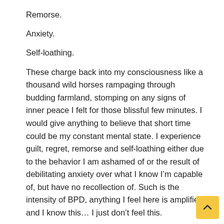Remorse.
Anxiety.
Self-loathing.
These charge back into my consciousness like a thousand wild horses rampaging through budding farmland, stomping on any signs of inner peace I felt for those blissful few minutes. I would give anything to believe that short time could be my constant mental state. I experience guilt, regret, remorse and self-loathing either due to the behavior I am ashamed of or the result of debilitating anxiety over what I know I’m capable of, but have no recollection of. Such is the intensity of BPD, anything I feel here is amplified and I know this… I just don’t feel this.
I can’t watch TV because I attach to the fictional emotional states in such a way that it’s too painful to watch or because I attach to the fictional characters in a way that isn’t healthy. I can listen to music and be in tears thanks to my attachment to the lyrics or the